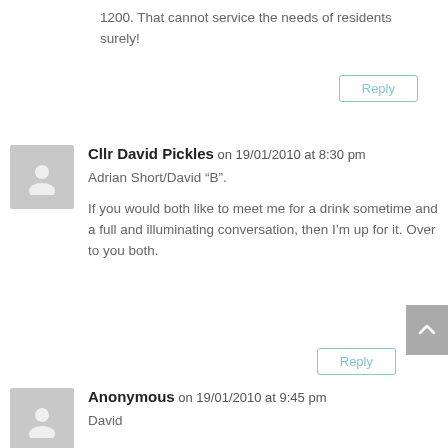1200. That cannot service the needs of residents surely!
Reply
Cllr David Pickles on 19/01/2010 at 8:30 pm
Adrian Short/David “B”.
If you would both like to meet me for a drink sometime and a full and illuminating conversation, then I’m up for it. Over to you both.
Reply
Anonymous on 19/01/2010 at 9:45 pm
David